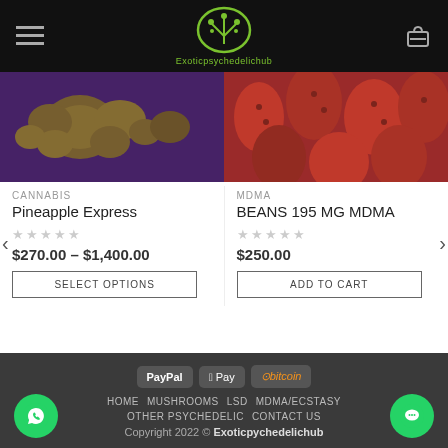Exoticpsychedelichub
[Figure (photo): Cannabis buds (Pineapple Express) on purple background]
CANNABIS
Pineapple Express
$270.00 – $1,400.00
SELECT OPTIONS
[Figure (photo): Red strawberry-shaped MDMA beans]
MDMA
BEANS 195 MG MDMA
$250.00
ADD TO CART
HOME  MUSHROOMS  LSD  MDMA/ECSTASY  OTHER PSYCHEDELIC  CONTACT US  Copyright 2022 © Exoticpychedelichub